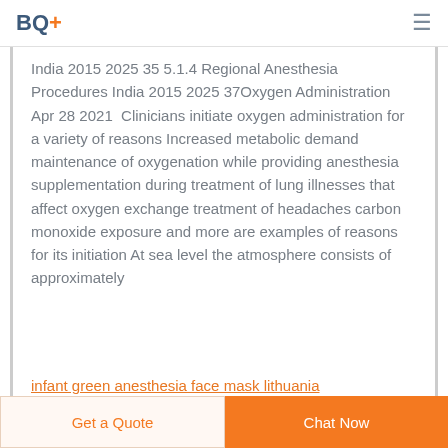BQ+
India 2015 2025 35 5.1.4 Regional Anesthesia Procedures India 2015 2025 37Oxygen Administration Apr 28 2021  Clinicians initiate oxygen administration for a variety of reasons Increased metabolic demand maintenance of oxygenation while providing anesthesia supplementation during treatment of lung illnesses that affect oxygen exchange treatment of headaches carbon monoxide exposure and more are examples of reasons for its initiation At sea level the atmosphere consists of approximately
infant green anesthesia face mask lithuania